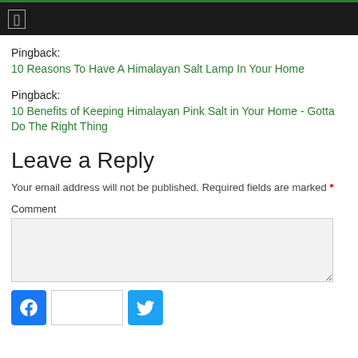☐
Pingback: 10 Reasons To Have A Himalayan Salt Lamp In Your Home
Pingback: 10 Benefits of Keeping Himalayan Pink Salt in Your Home - Gotta Do The Right Thing
Leave a Reply
Your email address will not be published. Required fields are marked *
Comment
[Figure (screenshot): Comment text area input box (empty, light gray background)]
[Figure (screenshot): Social share bar with Facebook button, text input, and Twitter button]